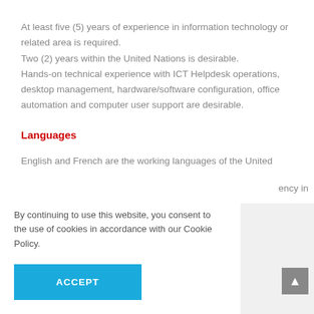At least five (5) years of experience in information technology or related area is required.
Two (2) years within the United Nations is desirable.
Hands-on technical experience with ICT Helpdesk operations, desktop management, hardware/software configuration, office automation and computer user support are desirable.
Languages
English and French are the working languages of the United
ency in
By continuing to use this website, you consent to the use of cookies in accordance with our Cookie Policy.
er is
ipetency-